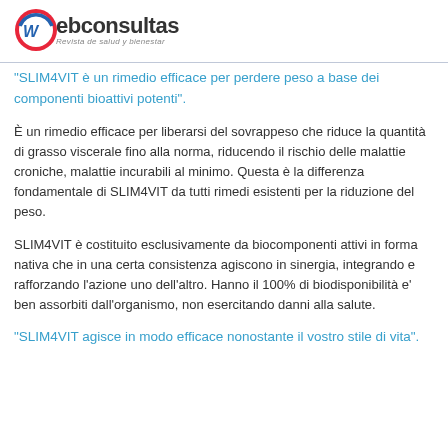Webconsultas - Revista de salud y bienestar
"SLIM4VIT è un rimedio efficace per perdere peso a base dei componenti bioattivi potenti".
È un rimedio efficace per liberarsi del sovrappeso che riduce la quantità di grasso viscerale fino alla norma, riducendo il rischio delle malattie croniche, malattie incurabili al minimo. Questa è la differenza fondamentale di SLIM4VIT da tutti rimedi esistenti per la riduzione del peso.
SLIM4VIT è costituito esclusivamente da biocomponenti attivi in forma nativa che in una certa consistenza agiscono in sinergia, integrando e rafforzando l'azione uno dell'altro. Hanno il 100% di biodisponibilità e' ben assorbiti dall'organismo, non esercitando danni alla salute.
"SLIM4VIT agisce in modo efficace nonostante il vostro stile di vita".